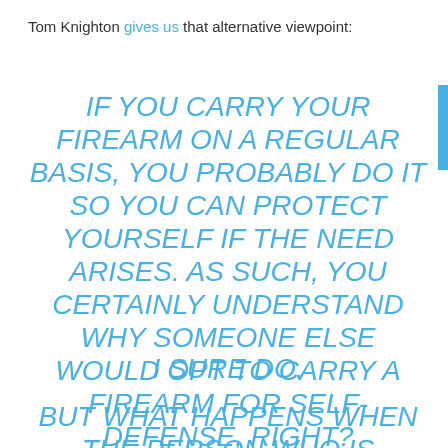Tom Knighton gives us that alternative viewpoint:
IF YOU CARRY YOUR FIREARM ON A REGULAR BASIS, YOU PROBABLY DO IT SO YOU CAN PROTECT YOURSELF IF THE NEED ARISES. AS SUCH, YOU CERTAINLY UNDERSTAND WHY SOMEONE ELSE WOULD OPT TO CARRY A FIREARM FOR SELF-DEFENSE, RIGHT?
I SURE DO.
BUT WHAT HAPPENS WHEN THE PERSON WHO IS CARRYING IT IS